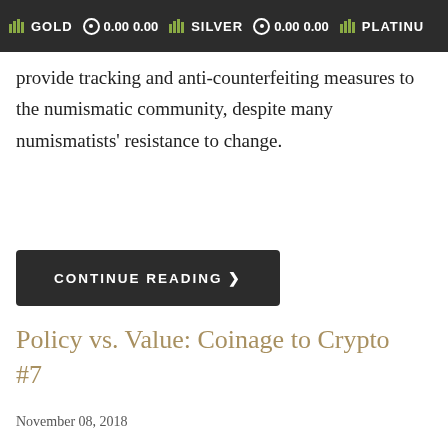GOLD 0.00 0.00   SILVER 0.00 0.00   PLATINUM
provide tracking and anti-counterfeiting measures to the numismatic community, despite many numismatists' resistance to change.
CONTINUE READING >
Policy vs. Value: Coinage to Crypto #7
November 08, 2018